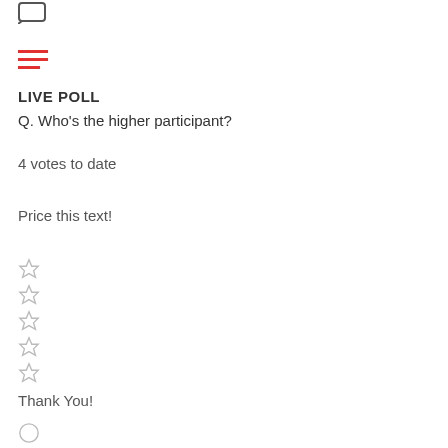[Figure (other): Small chat/document icon at top left]
[Figure (other): Hamburger menu icon with three red lines (two full width, one shorter)]
LIVE POLL
Q. Who's the higher participant?
4 votes to date
Price this text!
[Figure (other): Five empty star rating icons arranged vertically]
Thank You!
[Figure (other): Circle/user icon at bottom left]